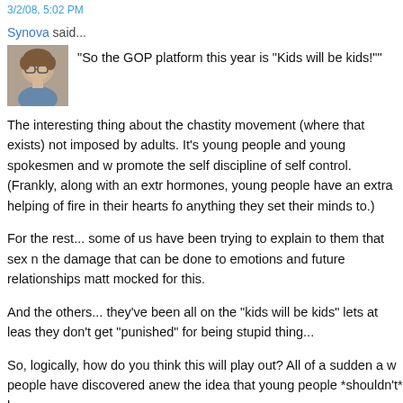3/2/08, 5:02 PM
Synova said...
"So the GOP platform this year is "Kids will be kids!""
The interesting thing about the chastity movement (where that exists) not imposed by adults. It's young people and young spokesmen and w promote the self discipline of self control. (Frankly, along with an extr hormones, young people have an extra helping of fire in their hearts fo anything they set their minds to.)
For the rest... some of us have been trying to explain to them that sex n the damage that can be done to emotions and future relationships matt mocked for this.
And the others... they've been all on the "kids will be kids" lets at leas they don't get "punished" for being stupid thing...
So, logically, how do you think this will play out? All of a sudden a w people have discovered anew the idea that young people *shouldn't* h